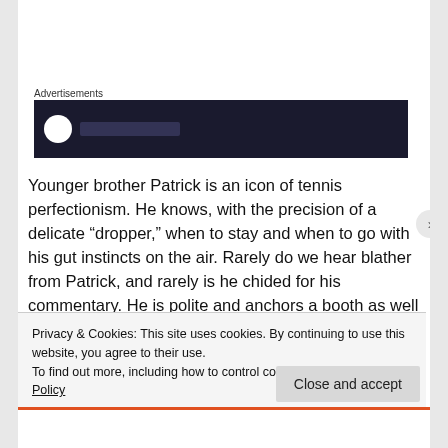Advertisements
[Figure (screenshot): Dark advertisement banner with white circle icon and blurred text on dark navy background]
Younger brother Patrick is an icon of tennis perfectionism. He knows, with the precision of a delicate “dropper,” when to stay and when to go with his gut instincts on the air. Rarely do we hear blather from Patrick, and rarely is he chided for his commentary. He is polite and anchors a booth as well as Haber over at Tennis Channel.
Privacy & Cookies: This site uses cookies. By continuing to use this website, you agree to their use.
To find out more, including how to control cookies, see here: Cookie Policy
Close and accept